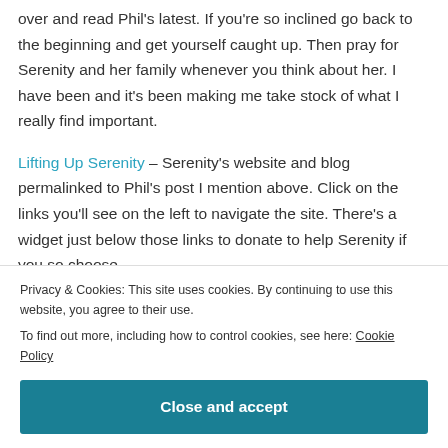over and read Phil's latest. If you're so inclined go back to the beginning and get yourself caught up. Then pray for Serenity and her family whenever you think about her. I have been and it's been making me take stock of what I really find important.
Lifting Up Serenity – Serenity's website and blog permalinked to Phil's post I mention above. Click on the links you'll see on the left to navigate the site. There's a widget just below those links to donate to help Serenity if you so choose.
Privacy & Cookies: This site uses cookies. By continuing to use this website, you agree to their use.
To find out more, including how to control cookies, see here: Cookie Policy
Close and accept